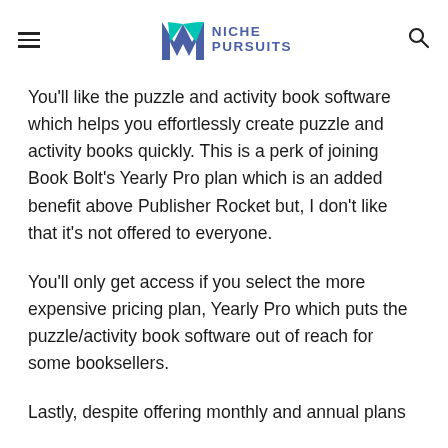Niche Pursuits
You'll like the puzzle and activity book software which helps you effortlessly create puzzle and activity books quickly. This is a perk of joining Book Bolt's Yearly Pro plan which is an added benefit above Publisher Rocket but, I don't like that it's not offered to everyone.
You'll only get access if you select the more expensive pricing plan, Yearly Pro which puts the puzzle/activity book software out of reach for some booksellers.
Lastly, despite offering monthly and annual plans